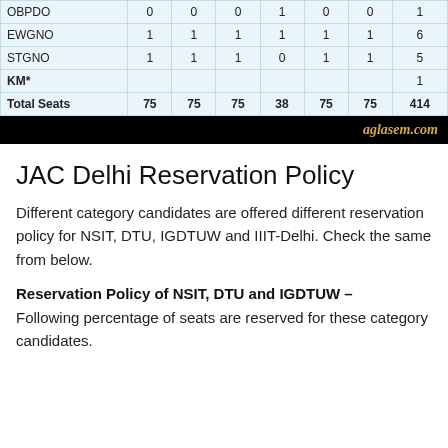|  |  |  |  |  |  |  |
| --- | --- | --- | --- | --- | --- | --- |
| OBPDO | 0 | 0 | 0 | 1 | 0 | 0 | 1 |
| EWGNO | 1 | 1 | 1 | 1 | 1 | 1 | 6 |
| STGNO | 1 | 1 | 1 | 0 | 1 | 1 | 5 |
| KM* |  |  |  |  |  |  | 1 |
| Total Seats | 75 | 75 | 75 | 38 | 75 | 75 | 414 |
[Figure (other): Black banner with aglasem.com logo in gold italic text]
JAC Delhi Reservation Policy
Different category candidates are offered different reservation policy for NSIT, DTU, IGDTUW and IIIT-Delhi. Check the same from below.
Reservation Policy of NSIT, DTU and IGDTUW –
Following percentage of seats are reserved for these category candidates.